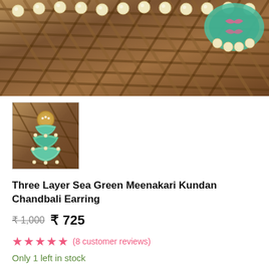[Figure (photo): Close-up photo of a wicker basket with pearl-studded meenakari jewelry on it, teal/green meenakari pendant visible in top-right corner]
[Figure (photo): Thumbnail image of Three Layer Sea Green Meenakari Kundan Chandbali Earrings on a wicker basket background]
Three Layer Sea Green Meenakari Kundan Chandbali Earring
₹1,000  ₹ 725
★★★★★ (8 customer reviews)
Only 1 left in stock